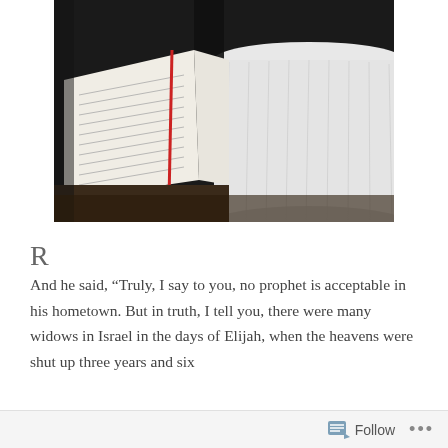[Figure (photo): A photograph showing an open Bible or book with pages spread open, a red ribbon bookmark visible, placed on a dark surface next to what appears to be a large white cylindrical lamp shade or object. The scene is dimly lit with contrasting dark and white tones.]
R
And he said, “Truly, I say to you, no prophet is acceptable in his hometown. But in truth, I tell you, there were many widows in Israel in the days of Elijah, when the heavens were shut up three years and six
Follow ...